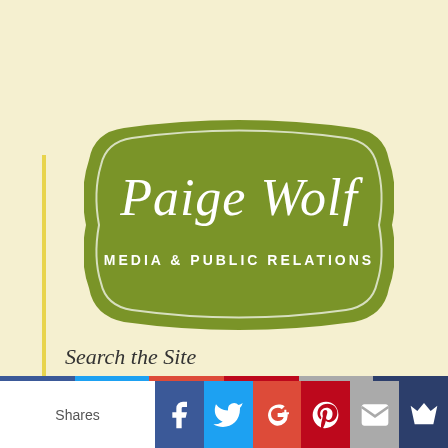[Figure (logo): Paige Wolf Media & Public Relations logo — oval/badge shape in olive green with script text 'Paige Wolf' and subtitle 'MEDIA & PUBLIC RELATIONS' in white]
Search the Site
[Figure (infographic): Social sharing bar with Shares label and icons for Facebook, Twitter, Google+, Pinterest, Email, and crown/bookmark]